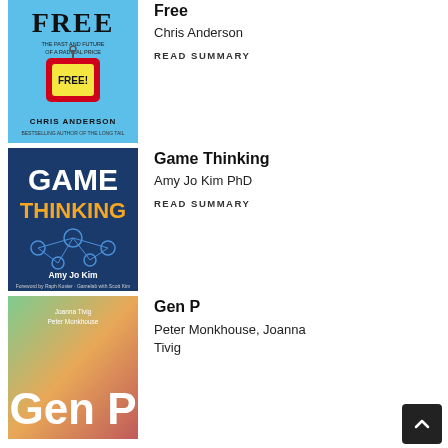[Figure (illustration): Book cover of 'Free' by Chris Anderson — light blue background with large bold text FREE at top, subtitle 'The Past and Future of A Radical Price', image of a red price tag with FREE written on it, author name CHRIS ANDERSON at bottom.]
Free
Chris Anderson
READ SUMMARY
[Figure (illustration): Book cover of 'Game Thinking' by Amy Jo Kim — dark blue background with 'GAME' in large white text, 'THINKING' in large orange/yellow text, network/node diagram in blue tones, author name Amy Jo Kim at bottom.]
Game Thinking
Amy Jo Kim PhD
READ SUMMARY
[Figure (illustration): Book cover of 'Gen P' by Peter Monkhouse and Joanna Tivig — colorful gradient background, author names Joanna Tivig and Peter Monkhouse at top, 'Gen P' in large bold letters at bottom.]
Gen P
Peter Monkhouse, Joanna Tivig